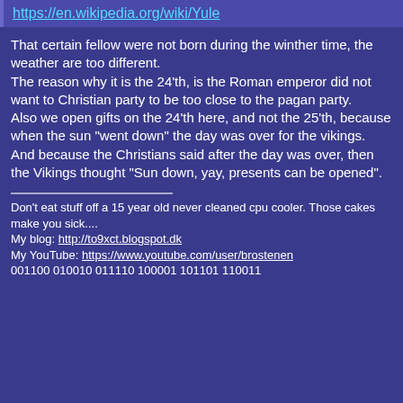https://en.wikipedia.org/wiki/Yule
That certain fellow were not born during the winther time, the weather are too different.
The reason why it is the 24'th, is the Roman emperor did not want to Christian party to be too close to the pagan party.
Also we open gifts on the 24'th here, and not the 25'th, because when the sun "went down" the day was over for the vikings.
And because the Christians said after the day was over, then the Vikings thought "Sun down, yay, presents can be opened".
Don't eat stuff off a 15 year old never cleaned cpu cooler. Those cakes make you sick....
My blog: http://to9xct.blogspot.dk
My YouTube: https://www.youtube.com/user/brostenen
001100 010010 011110 100001 101101 110011